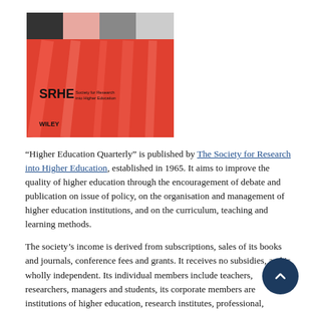[Figure (illustration): Book cover for Higher Education Quarterly journal, showing SRHE (Society for Research into Higher Education) and Wiley branding on a red abstract design with black and grey blocks at top.]
“Higher Education Quarterly” is published by The Society for Research into Higher Education, established in 1965. It aims to improve the quality of higher education through the encouragement of debate and publication on issue of policy, on the organisation and management of higher education institutions, and on the curriculum, teaching and learning methods.
The society’s income is derived from subscriptions, sales of its books and journals, conference fees and grants. It receives no subsidies, and is wholly independent. Its individual members include teachers, researchers, managers and students, its corporate members are institutions of higher education, research institutes, professional, industrial and governmental